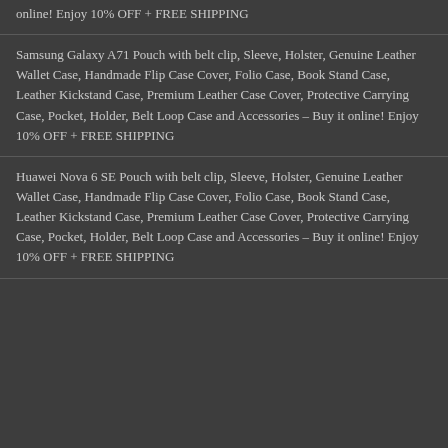online! Enjoy 10% OFF + FREE SHIPPING
Samsung Galaxy A71 Pouch with belt clip, Sleeve, Holster, Genuine Leather Wallet Case, Handmade Flip Case Cover, Folio Case, Book Stand Case, Leather Kickstand Case, Premium Leather Case Cover, Protective Carrying Case, Pocket, Holder, Belt Loop Case and Accessories – Buy it online! Enjoy 10% OFF + FREE SHIPPING
Huawei Nova 6 SE Pouch with belt clip, Sleeve, Holster, Genuine Leather Wallet Case, Handmade Flip Case Cover, Folio Case, Book Stand Case, Leather Kickstand Case, Premium Leather Case Cover, Protective Carrying Case, Pocket, Holder, Belt Loop Case and Accessories – Buy it online! Enjoy 10% OFF + FREE SHIPPING